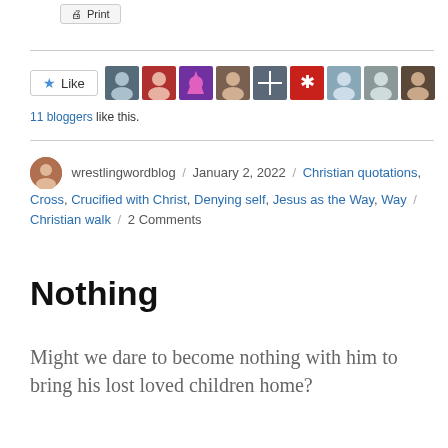[Figure (screenshot): Print button at top of page]
[Figure (screenshot): Like button with 9 blogger avatar thumbnails and '11 bloggers like this.' text]
11 bloggers like this.
wrestlingwordblog / January 2, 2022 / Christian quotations, Cross, Crucified with Christ, Denying self, Jesus as the Way, Way / Christian walk / 2 Comments
Nothing
Might we dare to become nothing with him to bring his lost loved children home?